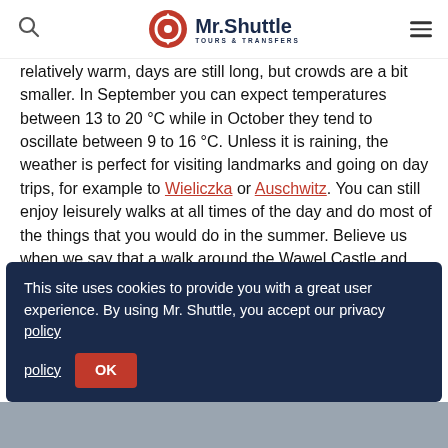Mr. Shuttle Tours & Transfers
relatively warm, days are still long, but crowds are a bit smaller. In September you can expect temperatures between 13 to 20 °C while in October they tend to oscillate between 9 to 16 °C. Unless it is raining, the weather is perfect for visiting landmarks and going on day trips, for example to Wieliczka or Auschwitz. You can still enjoy leisurely walks at all times of the day and do most of the things that you would do in the summer. Believe us when we say that a walk around the Wawel Castle and the Old Town is much more pleasant with less crowds. Also, in autumn, the leaves on the trees turn orange, red and yellow which creates a charming atmosphere. You can appreciate these colors and take fantastic photos!
This site uses cookies to provide you with a great user experience. By using Mr. Shuttle, you accept our privacy policy